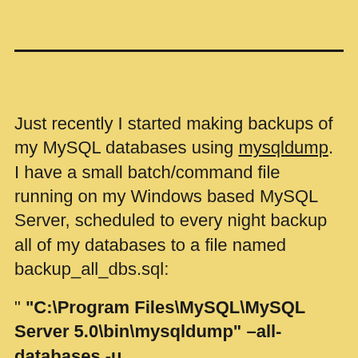Just recently I started making backups of my MySQL databases using mysqldump. I have a small batch/command file running on my Windows based MySQL Server, scheduled to every night backup all of my databases to a file named backup_all_dbs.sql:
" "C:\Program Files\MySQL\MySQL Server 5.0\bin\mysqldump" –all-databases -u